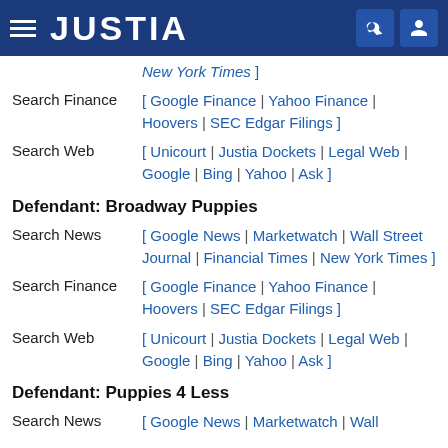JUSTIA
New York Times ]
Search Finance [ Google Finance | Yahoo Finance | Hoovers | SEC Edgar Filings ]
Search Web [ Unicourt | Justia Dockets | Legal Web | Google | Bing | Yahoo | Ask ]
Defendant: Broadway Puppies
Search News [ Google News | Marketwatch | Wall Street Journal | Financial Times | New York Times ]
Search Finance [ Google Finance | Yahoo Finance | Hoovers | SEC Edgar Filings ]
Search Web [ Unicourt | Justia Dockets | Legal Web | Google | Bing | Yahoo | Ask ]
Defendant: Puppies 4 Less
Search News [ Google News | Marketwatch | Wall